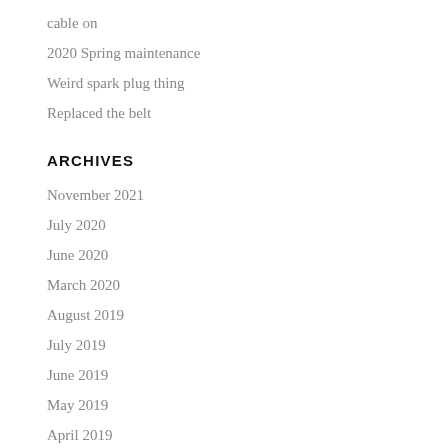cable on
2020 Spring maintenance
Weird spark plug thing
Replaced the belt
ARCHIVES
November 2021
July 2020
June 2020
March 2020
August 2019
July 2019
June 2019
May 2019
April 2019
March 2019
July 2018